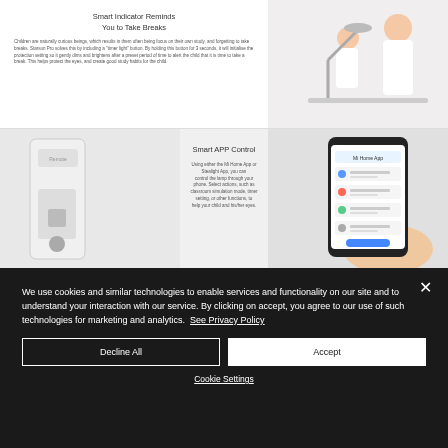[Figure (screenshot): Product page showing smart desk lamp with two sections: top section 'Smart Indicator Reminds You to Take Breaks' with woman and child using lamp, bottom section 'Smart APP Control' showing MI Home app on smartphone.]
We use cookies and similar technologies to enable services and functionality on our site and to understand your interaction with our service. By clicking on accept, you agree to our use of such technologies for marketing and analytics.  See Privacy Policy
Decline All
Accept
Cookie Settings